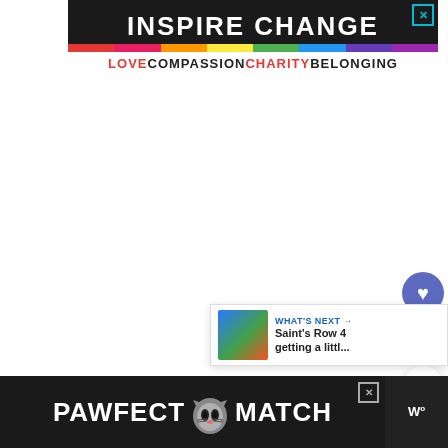[Figure (infographic): INSPIRE CHANGE advertisement banner with rainbow strip, black background, white text reading INSPIRE CHANGE with a close button]
LOVE COMPASSION CHARITY BELONGING
[Figure (infographic): Heart/like button (blue circle), upvote button (pink square with 1 and up arrow), share button (white circle with share icon)]
[Figure (screenshot): WHAT'S NEXT panel with thumbnail and text: Saint's Row 4 getting a littl...]
[Figure (infographic): PAWFECT MATCH advertisement banner with cat face icon on black background, close button, and Wm logo at right]